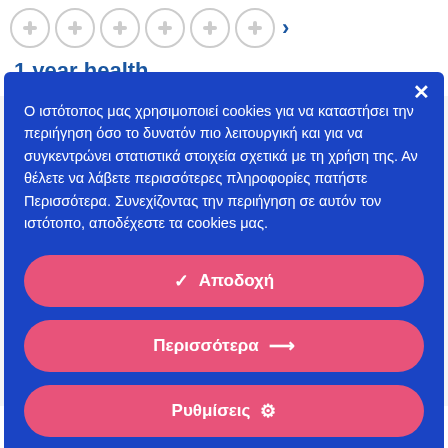[Figure (other): Row of circular medical/health icon buttons with a right arrow, on white background]
1 year health
Ο ιστότοπος μας χρησιμοποιεί cookies για να καταστήσει την περιήγηση όσο το δυνατόν πιο λειτουργική και για να συγκεντρώνει στατιστικά στοιχεία σχετικά με τη χρήση της. Αν θέλετε να λάβετε περισσότερες πληροφορίες πατήστε Περισσότερα. Συνεχίζοντας την περιήγηση σε αυτόν τον ιστότοπο, αποδέχεστε τα cookies μας.
✓ Αποδοχή
Περισσότερα →
Ρυθμίσεις ⚙